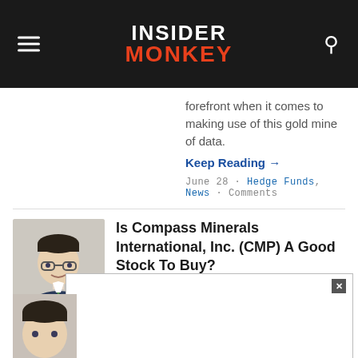INSIDER MONKEY
forefront when it comes to making use of this gold mine of data.
Keep Reading →
June 28 - Hedge Funds, News - Comments
[Figure (illustration): Illustrated portrait of a man in suit with glasses]
Is Compass Minerals International, Inc. (CMP) A Good Stock To Buy?
We hate to say this but, we told you so.
Keep Reading →
April 7 - Hedge Funds, News - Comments